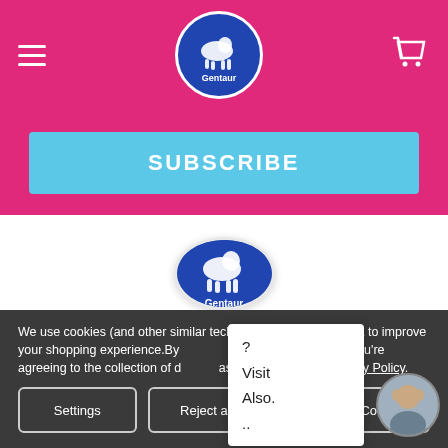[Figure (logo): Gentaur logo circle in header navigation bar with hamburger menu and cart icon]
SUBSCRIBE
[Figure (logo): Gentaur circular logo centered on white content area]
Kuiper 1
5521 DG Eersel
We use cookies (and other similar technologies) to collect data to improve your shopping experience.By using our website, you're agreeing to the collection of data as described in our Privacy Policy.
?
Visit
Also.
..
Settings
Reject all
Accept All Cookies